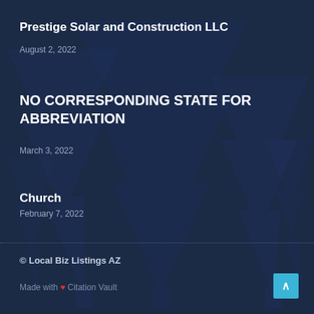Prestige Solar and Construction LLC
August 2, 2022
NO CORRESPONDING STATE FOR ABBREVIATION
March 3, 2022
Church
February 7, 2022
© Local Biz Listings AZ
Made with ❤ Citation Vault